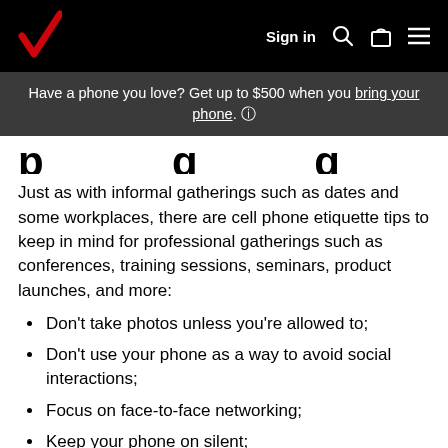Verizon navigation bar with logo, Sign in, search, bag, and menu icons
Have a phone you love? Get up to $500 when you bring your phone. ⓘ
p...g...g (partial heading cut off)
Just as with informal gatherings such as dates and some workplaces, there are cell phone etiquette tips to keep in mind for professional gatherings such as conferences, training sessions, seminars, product launches, and more:
Don't take photos unless you're allowed to;
Don't use your phone as a way to avoid social interactions;
Focus on face-to-face networking;
Keep your phone on silent;